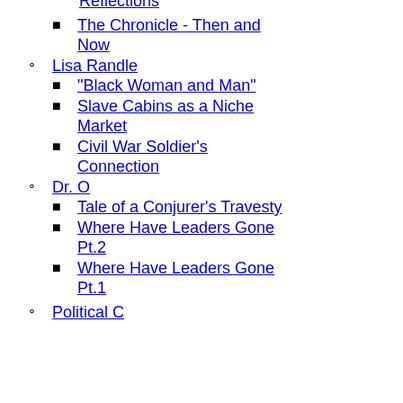Reflections (partial, top)
The Chronicle - Then and Now
Lisa Randle
"Black Woman and Man"
Slave Cabins as a Niche Market
Civil War Soldier's Connection
Dr. O
Tale of a Conjurer's Travesty
Where Have Leaders Gone Pt.2
Where Have Leaders Gone Pt.1
Political C... (partial, bottom)